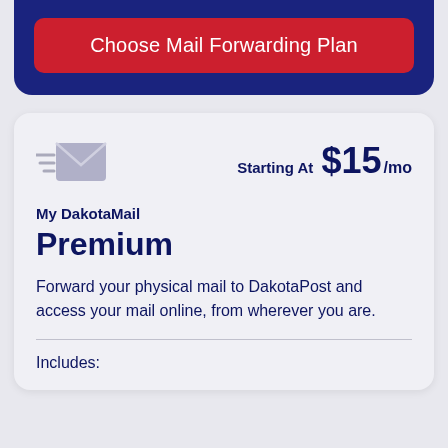Choose Mail Forwarding Plan
[Figure (illustration): Mail forwarding icon: envelope with speed lines on the left, and pricing text on the right reading 'Starting At $15/mo']
Starting At $15/mo
My DakotaMail
Premium
Forward your physical mail to DakotaPost and access your mail online, from wherever you are.
Includes: